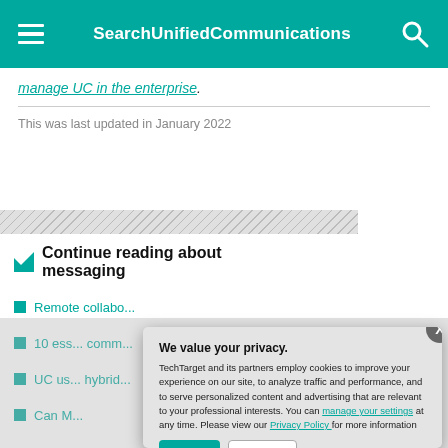SearchUnifiedCommunications
manage UC in the enterprise.
This was last updated in January 2022
Continue reading about messaging
Remote collaboration
10 essential communications
UC use hybrid
Can M
We value your privacy. TechTarget and its partners employ cookies to improve your experience on our site, to analyze traffic and performance, and to serve personalized content and advertising that are relevant to your professional interests. You can manage your settings at any time. Please view our Privacy Policy for more information